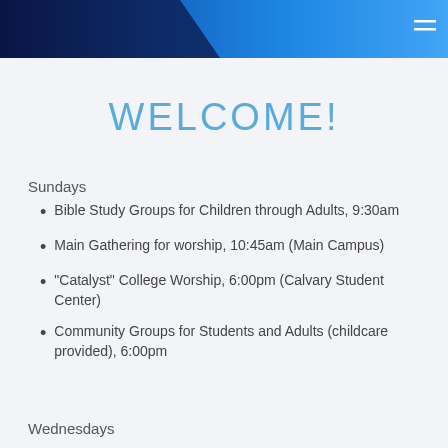Navigation header with blue gradient and hamburger menu
WELCOME!
Sundays
Bible Study Groups for Children through Adults, 9:30am
Main Gathering for worship, 10:45am (Main Campus)
"Catalyst" College Worship, 6:00pm (Calvary Student Center)
Community Groups for Students and Adults (childcare provided), 6:00pm
Wednesdays